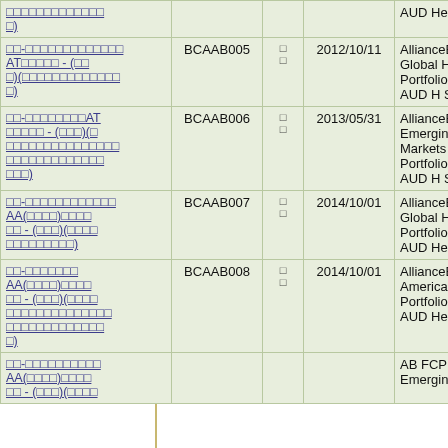| Name | Code | Flag | Date | Product |
| --- | --- | --- | --- | --- |
| □□-□□□□□□□□□□□□□) |  |  |  | AUD Hedge |
| □□-□□□□□□□□□□□AT□□□□□ - (□□□)(□□□□□□□□□□□□□) | BCAAB005 | □□ | 2012/10/11 | AllianceBern Global High Portfolio Cla AUD H Sha |
| □□-□□□□□□□□AT□□□□□ - (□□□)(□□□□□□□□□□□□□□□□□□□□□□□) | BCAAB006 | □□ | 2013/05/31 | AllianceBern Emerging Markets De Portfolio Cla AUD H Sha |
| □□-□□□□□□□□□□□□AA(□□□□)□□□□□□ - (□□□)(□□□□□□□□□□□□□) | BCAAB007 | □□ | 2014/10/01 | AllianceBern Global High Portfolio Cla AUD Hedge |
| □□-□□□□□□□AA(□□□□)□□□□□□ - (□□□)(□□□□□□□□□□□□□□□□□□□□□□□□) | BCAAB008 | □□ | 2014/10/01 | AllianceBern American In Portfolio Cla AUD Hedge |
| □□-□□□□□□□□□□AA(□□□□)□□□□□□ - |  |  |  | AB FCP I- Emerging |